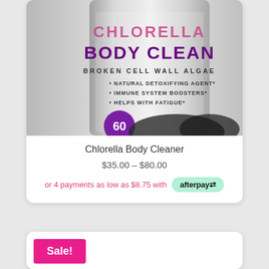[Figure (photo): Product image of Chlorella Body Cleaner supplement bottle. The bottle is silver/metallic with purple and dark text reading 'CHLORELLA' in pinkish-red letters, 'BODY CLEAN' in bold purple, 'BROKEN CELL WALL ALGAE', bullet points listing 'NATURAL DETOXIFYING AGENT*', 'IMMUNE SYSTEM BOOSTERS*', 'HELPS WITH FATIGUE*'. A purple circular badge with '60' is visible at the bottom left.]
Chlorella Body Cleaner
$35.00 – $80.00
or 4 payments as low as $8.75 with afterpay
Sale!